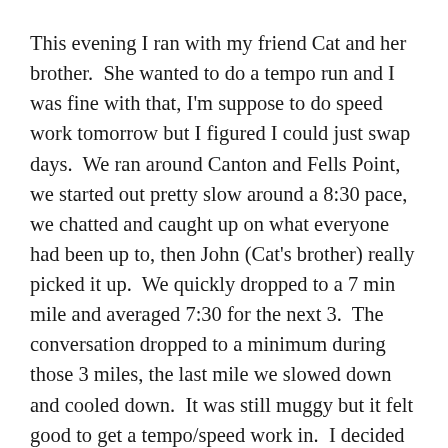This evening I ran with my friend Cat and her brother.  She wanted to do a tempo run and I was fine with that, I'm suppose to do speed work tomorrow but I figured I could just swap days.  We ran around Canton and Fells Point, we started out pretty slow around a 8:30 pace, we chatted and caught up on what everyone had been up to, then John (Cat's brother) really picked it up.  We quickly dropped to a 7 min mile and averaged 7:30 for the next 3.  The conversation dropped to a minimum during those 3 miles, the last mile we slowed down and cooled down.  It was still muggy but it felt good to get a tempo/speed work in.  I decided at the end of the run I wasn't going to do intervals